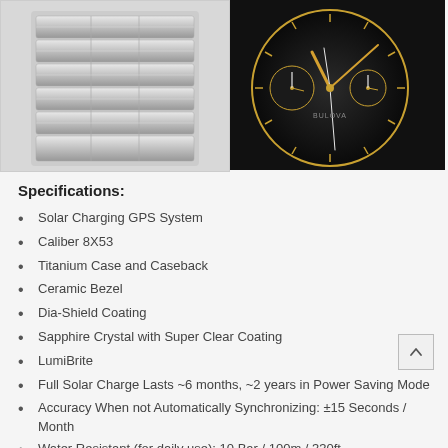[Figure (photo): Back of a watch showing the metal bracelet/band, silver stainless steel links, partial view from underside]
[Figure (photo): Close-up of a dark watch face (Bulova) with rose gold hands, sub-dials, and detailed chronograph markers on a black dial]
Specifications:
Solar Charging GPS System
Caliber 8X53
Titanium Case and Caseback
Ceramic Bezel
Dia-Shield Coating
Sapphire Crystal with Super Clear Coating
LumiBrite
Full Solar Charge Lasts ~6 months, ~2 years in Power Saving Mode
Accuracy When not Automatically Synchronizing: ±15 Seconds / Month
Water Resistant (for daily use): 10 Bar / 100m / 330ft
Magnetic Resistance
Size 51.4mm × 46.1mm × 14.3mm
Weight 128g